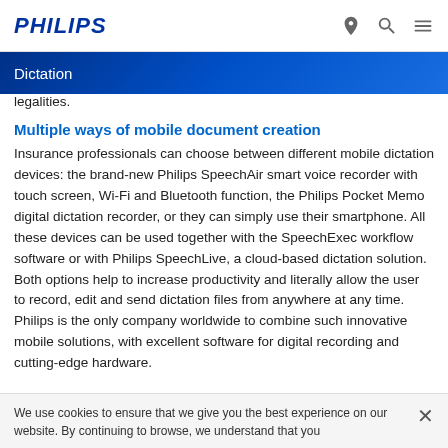PHILIPS
Dictation
legalities.
Multiple ways of mobile document creation
Insurance professionals can choose between different mobile dictation devices: the brand-new Philips SpeechAir smart voice recorder with touch screen, Wi-Fi and Bluetooth function, the Philips Pocket Memo digital dictation recorder, or they can simply use their smartphone. All these devices can be used together with the SpeechExec workflow software or with Philips SpeechLive, a cloud-based dictation solution. Both options help to increase productivity and literally allow the user to record, edit and send dictation files from anywhere at any time. Philips is the only company worldwide to combine such innovative mobile solutions, with excellent software for digital recording and cutting-edge hardware.
We use cookies to ensure that we give you the best experience on our website. By continuing to browse, we understand that you